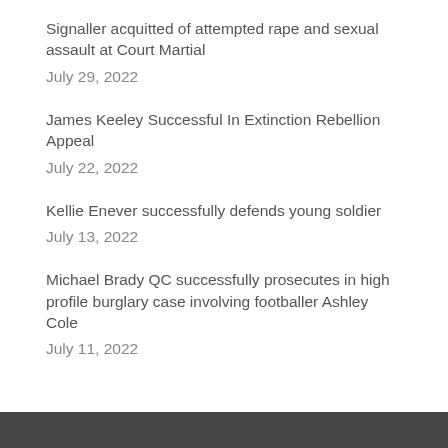Signaller acquitted of attempted rape and sexual assault at Court Martial
July 29, 2022
James Keeley Successful In Extinction Rebellion Appeal
July 22, 2022
Kellie Enever successfully defends young soldier
July 13, 2022
Michael Brady QC successfully prosecutes in high profile burglary case involving footballer Ashley Cole
July 11, 2022